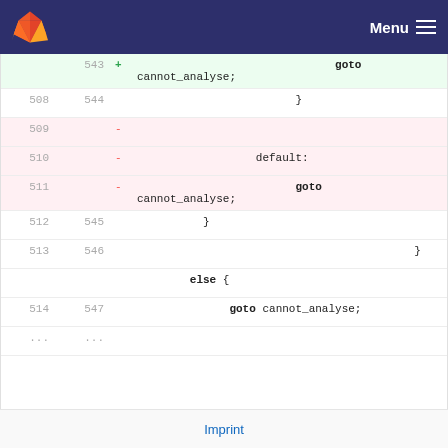GitLab Menu
543  +   goto cannot_analyse;
508  544      }
509  -
510  -   default:
511  -   goto cannot_analyse;
512  545      }
513  546      }
513  546  else {
514  547      goto cannot_analyse;
...  ...
Imprint